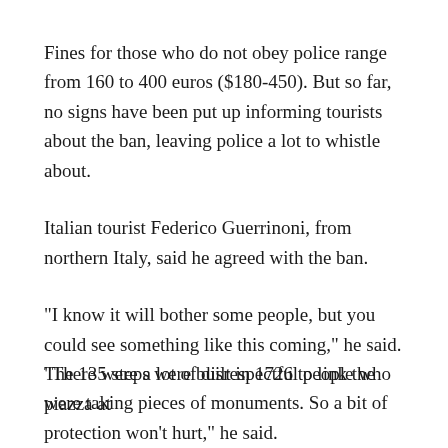Fines for those who do not obey police range from 160 to 400 euros ($180-450). But so far, no signs have been put up informing tourists about the ban, leaving police a lot to whistle about.
Italian tourist Federico Guerrinoni, from northern Italy, said he agreed with the ban.
“I know it will bother some people, but you could see something like this coming,” he said. “There were a lot of disrespectful people who were taking pieces of monuments. So a bit of protection won’t hurt,” he said.
The 135 steps were built in 1726 to link the piazza at